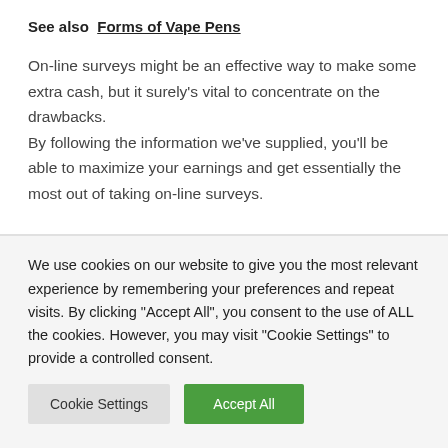See also  Forms of Vape Pens
On-line surveys might be an effective way to make some extra cash, but it surely's vital to concentrate on the drawbacks.
By following the information we've supplied, you'll be able to maximize your earnings and get essentially the most out of taking on-line surveys.
We use cookies on our website to give you the most relevant experience by remembering your preferences and repeat visits. By clicking "Accept All", you consent to the use of ALL the cookies. However, you may visit "Cookie Settings" to provide a controlled consent.
Cookie Settings | Accept All